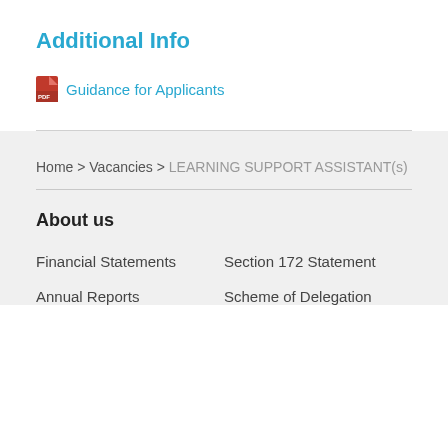Additional Info
Guidance for Applicants
Home > Vacancies > LEARNING SUPPORT ASSISTANT(s)
About us
Financial Statements
Section 172 Statement
Annual Reports
Scheme of Delegation